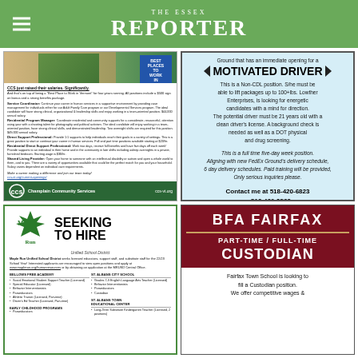THE ESSEX REPORTER
[Figure (advertisement): Champlain Community Services (CCS) job advertisement seeking Service Coordinator, Residential Program Manager, Direct Support Professional, Residential Direct Support Professional, and Shared Living Provider. CCS just raised their salaries significantly. Best Places to Work in Vermont. ccs-vt.org/current-openings/]
[Figure (advertisement): FedEx Ground Motivated Driver job ad. Non-CDL position, must lift 100+lbs, 21 years old, clean driver's license, background check, DOT physical and drug screening. Full time five-day week. Contact 518-420-6823 or 518-420-3523.]
[Figure (advertisement): Maple Run Unified School District seeking to hire licensed educators, support staff, and substitute staff for 22/23 school year. Lists openings at Bellows Free Academy, St. Albans City School, St. Albans Town Educational Center, and Early Childhood Programs.]
[Figure (advertisement): BFA Fairfax Part-Time / Full-Time Custodian job ad. Fairfax Town School is looking to fill a Custodian position. We offer competitive wages.]